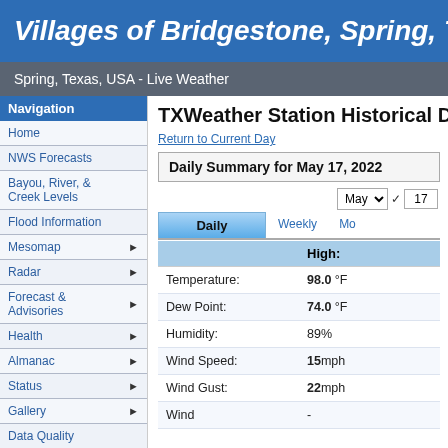Villages of Bridgestone, Spring, TX
Spring, Texas, USA - Live Weather
Navigation
Home
NWS Forecasts
Bayou, River, & Creek Levels
Flood Information
Mesomap
Radar
Forecast & Advisories
Health
Almanac
Status
Gallery
Data Quality
Lightning Data
Station Graphs
TXWeather Station Historical Data
Return to Current Day
Daily Summary for May 17, 2022
|  | High: |
| --- | --- |
| Temperature: | 98.0 °F |
| Dew Point: | 74.0 °F |
| Humidity: | 89% |
| Wind Speed: | 15mph |
| Wind Gust: | 22mph |
| Wind | - |